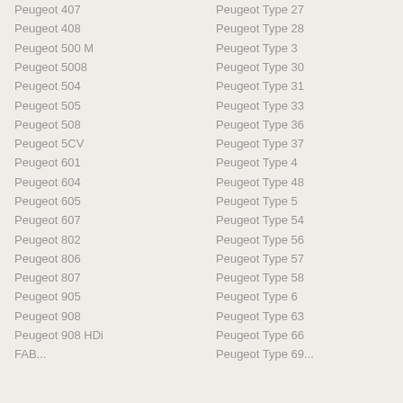Peugeot 407
Peugeot Type 27
Peugeot 408
Peugeot Type 28
Peugeot 500 M
Peugeot Type 3
Peugeot 5008
Peugeot Type 30
Peugeot 504
Peugeot Type 31
Peugeot 505
Peugeot Type 33
Peugeot 508
Peugeot Type 36
Peugeot 5CV
Peugeot Type 37
Peugeot 601
Peugeot Type 4
Peugeot 604
Peugeot Type 48
Peugeot 605
Peugeot Type 5
Peugeot 607
Peugeot Type 54
Peugeot 802
Peugeot Type 56
Peugeot 806
Peugeot Type 57
Peugeot 807
Peugeot Type 58
Peugeot 905
Peugeot Type 6
Peugeot 908
Peugeot Type 63
Peugeot 908 HDi
Peugeot Type 66
FAB...
Peugeot Type 69...